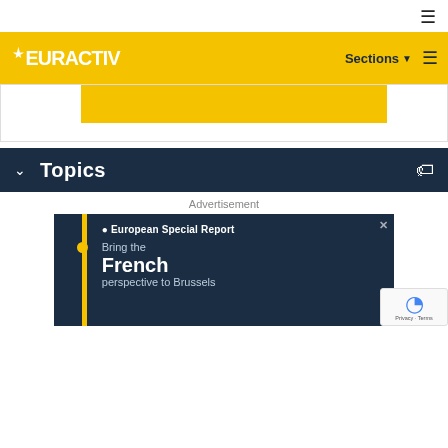≡
[Figure (logo): EURACTIV logo on yellow navigation bar with Sections dropdown and hamburger menu]
[Figure (other): Yellow advertisement banner placeholder area within white box border]
Topics
Advertisement
[Figure (other): European Special Report advertisement banner: 'Bring the French perspective to Brussels' on dark navy background with yellow accent bar]